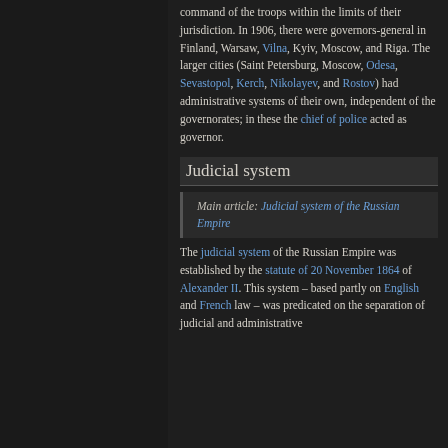command of the troops within the limits of their jurisdiction. In 1906, there were governors-general in Finland, Warsaw, Vilna, Kyiv, Moscow, and Riga. The larger cities (Saint Petersburg, Moscow, Odesa, Sevastopol, Kerch, Nikolayev, and Rostov) had administrative systems of their own, independent of the governorates; in these the chief of police acted as governor.
Judicial system
Main article: Judicial system of the Russian Empire
The judicial system of the Russian Empire was established by the statute of 20 November 1864 of Alexander II. This system – based partly on English and French law – was predicated on the separation of judicial and administrative